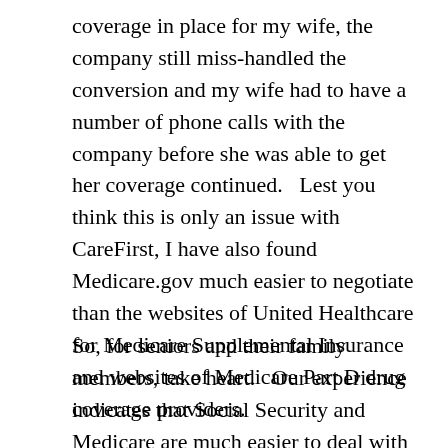coverage in place for my wife, the company still miss-handled the conversion and my wife had to have a number of phone calls with the company before she was able to get her coverage continued.   Lest you think this is only an issue with CareFirst, I have also found Medicare.gov much easier to negotiate than the websites of United Healthcare for Medicare Supplemental Insurance and websites of Medicare Part D drug coverage providers.
So, for seniors and their family members, take heart.   Our experience indicates that Social Security and Medicare are much easier to deal with than your current private insurer.   Kudos to the dedicated employees working at the